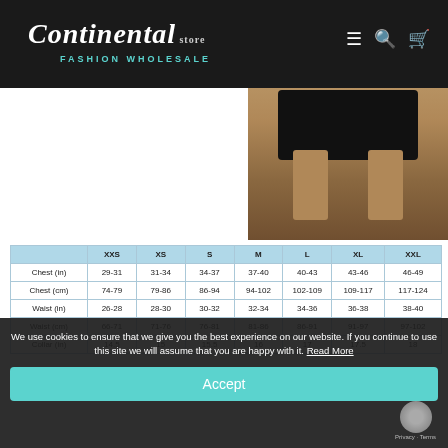Continental Fashion Wholesale
[Figure (photo): Man wearing black patterned swim shorts, showing chest and waist measurement lines]
|  | XXS | XS | S | M | L | XL | XXL |
| --- | --- | --- | --- | --- | --- | --- | --- |
| Chest (in) | 29-31 | 31-34 | 34-37 | 37-40 | 40-43 | 43-46 | 46-49 |
| Chest (cm) | 74-79 | 79-86 | 86-94 | 94-102 | 102-109 | 109-117 | 117-124 |
| Waist (in) | 26-28 | 28-30 | 30-32 | 32-34 | 34-36 | 36-38 | 38-40 |
| Waist (cm) | 66-71 | 71-76 | 76-81 | 81-86 | 86-91 | 91-97 | 97-102 |
| Collar (in) | 14.5 | 15 | 15.5 | 16 | 17 | 17.5 | 18 |
We use cookies to ensure that we give you the best experience on our website. If you continue to use this site we will assume that you are happy with it. Read More
Accept